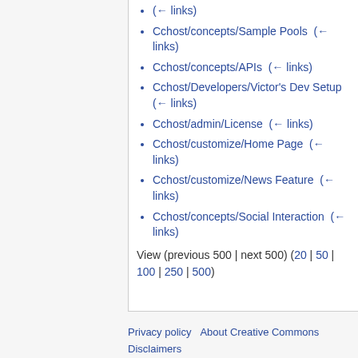(← links)
Cchost/concepts/Sample Pools  (← links)
Cchost/concepts/APIs  (← links)
Cchost/Developers/Victor's Dev Setup  (← links)
Cchost/admin/License  (← links)
Cchost/customize/Home Page  (← links)
Cchost/customize/News Feature  (← links)
Cchost/concepts/Social Interaction  (← links)
View (previous 500 | next 500) (20 | 50 | 100 | 250 | 500)
Privacy policy   About Creative Commons   Disclaimers